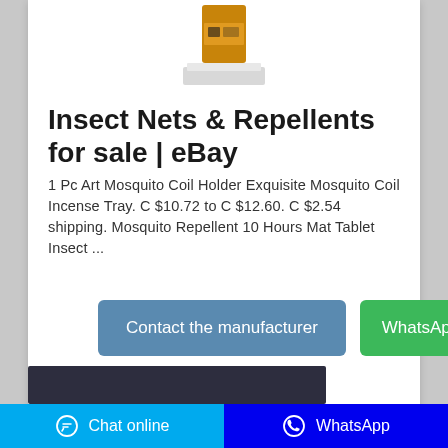[Figure (photo): Product image of a small bottle/container (mosquito repellent product) with an orange label and gray base, shown against white background]
Insect Nets & Repellents for sale | eBay
1 Pc Art Mosquito Coil Holder Exquisite Mosquito Coil Incense Tray. C $10.72 to C $12.60. C $2.54 shipping. Mosquito Repellent 10 Hours Mat Tablet Insect ...
[Figure (screenshot): Dark blurred image strip at the bottom of the content card]
Chat online   WhatsApp